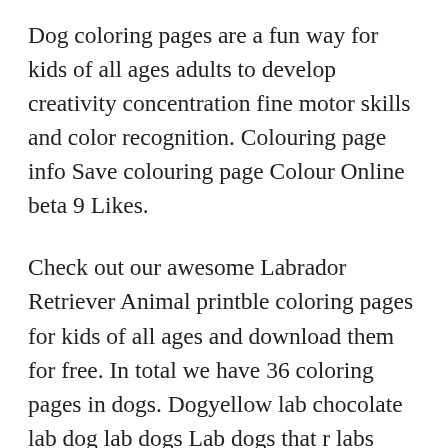Dog coloring pages are a fun way for kids of all ages adults to develop creativity concentration fine motor skills and color recognition. Colouring page info Save colouring page Colour Online beta 9 Likes.
Check out our awesome Labrador Retriever Animal printble coloring pages for kids of all ages and download them for free. In total we have 36 coloring pages in dogs. Dogyellow lab chocolate lab dog lab dogs Lab dogs that r labs reallstick dog labrdor dog labrdoor Chocolate Labradors to colour in labrdorsa dog called a lab labador reriever lab dog yellow lab dogs